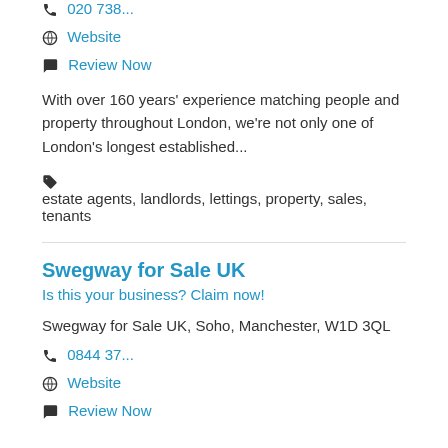020 738...
Website
Review Now
With over 160 years' experience matching people and property throughout London, we're not only one of London's longest established...
estate agents, landlords, lettings, property, sales, tenants
Swegway for Sale UK
Is this your business? Claim now!
Swegway for Sale UK, Soho, Manchester, W1D 3QL
0844 37...
Website
Review Now